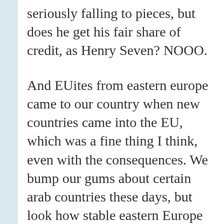seriously falling to pieces, but does he get his fair share of credit, as Henry Seven? NOOO.

And EUites from eastern europe came to our country when new countries came into the EU, which was a fine thing I think, even with the consequences. We bump our gums about certain arab countries these days, but look how stable eastern Europe is these days, even when certain enlightened people said that the fall of the wall in '89 would bring serious